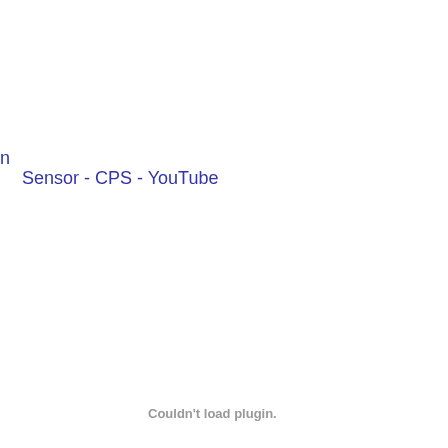n
Sensor - CPS - YouTube
Couldn't load plugin.